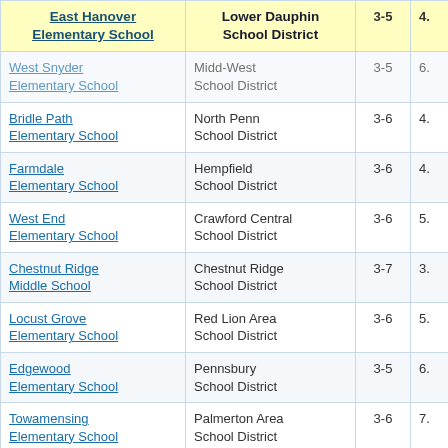| School | District | Grades | Rating |
| --- | --- | --- | --- |
| East Hanover Elementary School | Lower Dauphin School District | 3-5 | 4. |
| West Snyder Elementary School | Midd-West School District | 3-5 | 6. |
| Bridle Path Elementary School | North Penn School District | 3-6 | 4. |
| Farmdale Elementary School | Hempfield School District | 3-6 | 4. |
| West End Elementary School | Crawford Central School District | 3-6 | 5. |
| Chestnut Ridge Middle School | Chestnut Ridge School District | 3-7 | 3. |
| Locust Grove Elementary School | Red Lion Area School District | 3-6 | 5. |
| Edgewood Elementary School | Pennsbury School District | 3-5 | 6. |
| Towamensing Elementary School | Palmerton Area School District | 3-6 | 7. |